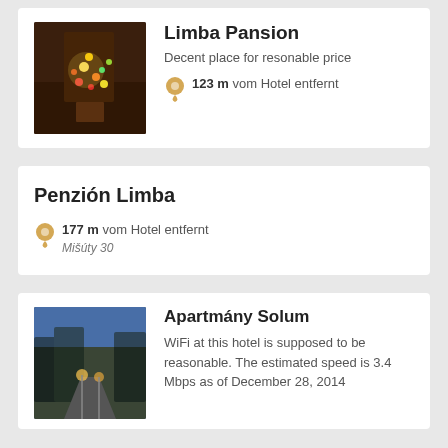Limba Pansion
Decent place for resonable price
123 m vom Hotel entfernt
Penzión Limba
177 m vom Hotel entfernt
Mišúty 30
Apartmány Solum
WiFi at this hotel is supposed to be reasonable. The estimated speed is 3.4 Mbps as of December 28, 2014